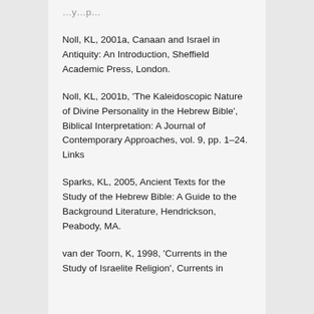Noll, KL, 2001a, Canaan and Israel in Antiquity: An Introduction, Sheffield Academic Press, London.
Noll, KL, 2001b, 'The Kaleidoscopic Nature of Divine Personality in the Hebrew Bible', Biblical Interpretation: A Journal of Contemporary Approaches, vol. 9, pp. 1–24. Links
Sparks, KL, 2005, Ancient Texts for the Study of the Hebrew Bible: A Guide to the Background Literature, Hendrickson, Peabody, MA.
van der Toorn, K, 1998, 'Currents in the Study of Israelite Religion', Currents in